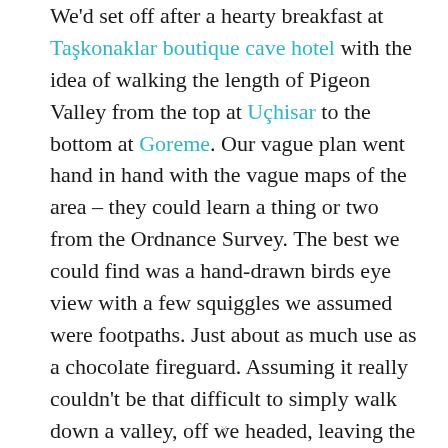We'd set off after a hearty breakfast at Taşkonaklar boutique cave hotel with the idea of walking the length of Pigeon Valley from the top at Uçhisar to the bottom at Goreme. Our vague plan went hand in hand with the vague maps of the area – they could learn a thing or two from the Ordnance Survey. The best we could find was a hand-drawn birds eye view with a few squiggles we assumed were footpaths. Just about as much use as a chocolate fireguard. Assuming it really couldn't be that difficult to simply walk down a valley, off we headed, leaving the
×